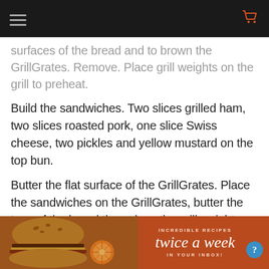[navigation bar with hamburger menu and cart icon]
surfaces of the bread and to brown the GrillGrates. Remove. Place grill weights on the grill to preheat.
Build the sandwiches. Two slices grilled ham, two slices roasted pork, one slice Swiss cheese, two pickles and yellow mustard on the top bun.
Butter the flat surface of the GrillGrates. Place the sandwiches on the GrillGrates, butter the tops of the bread then place the grill weight on top of the sandwiches. Cook until the bottoms are golden brown and the cheese is melting.
[Figure (photo): Banner image showing grilled burgers/sandwiches on the left side and an orange/brown background on the right with text 'INCREDIBLE RECIPES twice a week IN YOUR INBOX!']